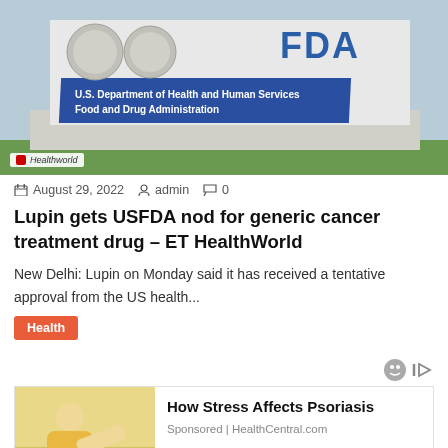[Figure (photo): Photo of FDA building sign reading U.S. Department of Health and Human Services Food and Drug Administration, with Healthworld badge in corner]
August 29, 2022  admin  0
Lupin gets USFDA nod for generic cancer treatment drug – ET HealthWorld
New Delhi: Lupin on Monday said it has received a tentative approval from the US health...
Health
[Figure (photo): Ad: How Stress Affects Psoriasis — image of woman looking at skin, Sponsored | HealthCentral.com]